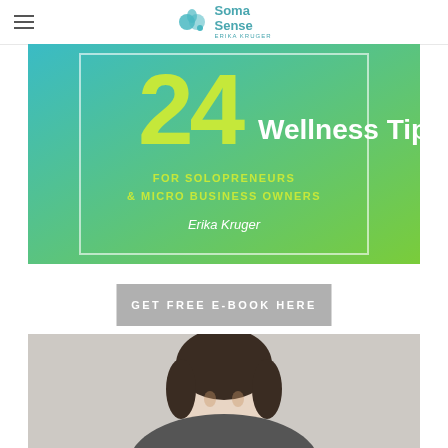Soma Sense - Erika Kruger
[Figure (illustration): E-book cover: '24 Wellness Tips for Solopreneurs & Micro Business Owners' by Erika Kruger. Teal and green gradient background with white border, yellow-green large number 24, white text for title and subtitle, author name in white italic.]
GET FREE E-BOOK HERE
[Figure (photo): Portrait photo of a person (Erika Kruger) with dark hair, photographed from the shoulders up against a light background.]